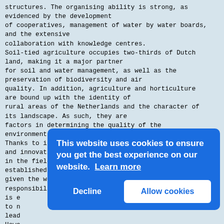structures. The organising ability is strong, as evidenced by the development of cooperatives, management of water by water boards, and the extensive collaboration with knowledge centres. Soil-tied agriculture occupies two-thirds of Dutch land, making it a major partner for soil and water management, as well as the preservation of biodiversity and air quality. In addition, agriculture and horticulture are bound up with the identity of rural areas of the Netherlands and the character of its landscape. As such, they are factors in determining the quality of the environment. Thanks to its food production, technological know-how and innovative strength in the field of agri-food, the Netherlands has established a global position that, given the world food issue, entails a number of responsibilities. World population is e... to n... lead... Howe... powe... habi... The ... agri... 2.1.... go h... position are not only economic in nature, but also specifically concern the transfer.
[Figure (screenshot): Cookie consent overlay banner with blue background. Text reads: 'This website uses cookies to ensure you get the best experience on our website. Learn more' with a 'Decline' button and an 'Allow cookies' button.]